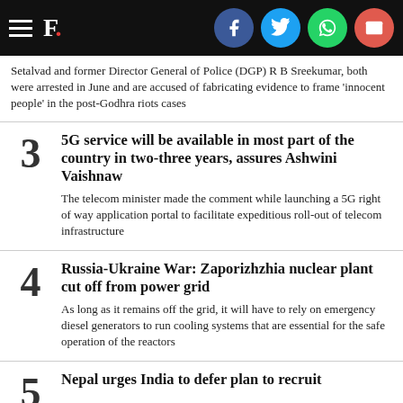F. [logo with social share icons: Facebook, Twitter, WhatsApp, Email]
Setalvad and former Director General of Police (DGP) R B Sreekumar, both were arrested in June and are accused of fabricating evidence to frame 'innocent people' in the post-Godhra riots cases
3 — 5G service will be available in most part of the country in two-three years, assures Ashwini Vaishnaw — The telecom minister made the comment while launching a 5G right of way application portal to facilitate expeditious roll-out of telecom infrastructure
4 — Russia-Ukraine War: Zaporizhzhia nuclear plant cut off from power grid — As long as it remains off the grid, it will have to rely on emergency diesel generators to run cooling systems that are essential for the safe operation of the reactors
5 — Nepal urges India to defer plan to recruit ...